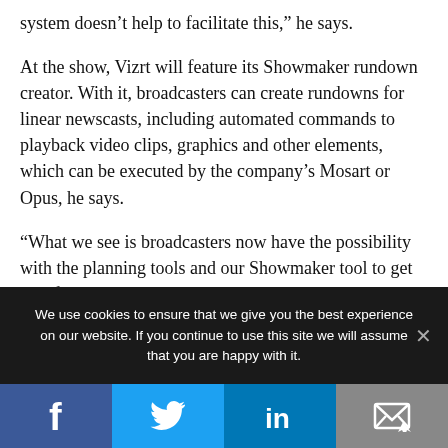system doesn't help to facilitate this,” he says.
At the show, Vizrt will feature its Showmaker rundown creator. With it, broadcasters can create rundowns for linear newscasts, including automated commands to playback video clips, graphics and other elements, which can be executed by the company’s Mosart or Opus, he says.
“What we see is broadcasters now have the possibility with the planning tools and our Showmaker tool to get rid of the entire NRCS and save money,” he says.
We use cookies to ensure that we give you the best experience on our website. If you continue to use this site we will assume that you are happy with it.
[Figure (other): Social media share buttons: Facebook, Twitter, LinkedIn, Email]